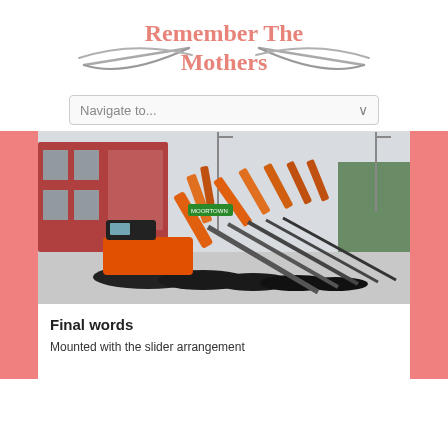Remember The Mothers
Navigate to...
[Figure (photo): Row of multiple orange mini excavators/diggers parked in a yard in front of a brick building, with their arms raised, viewed from the side.]
Final words
Mounted with the slider arrangement